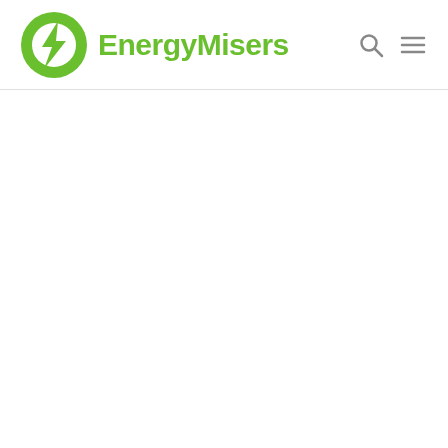[Figure (logo): EnergyMisers logo: green circular lightning bolt icon on the left, followed by the text 'EnergyMisers' in bold green. Navigation icons (search and hamburger menu) on the right.]